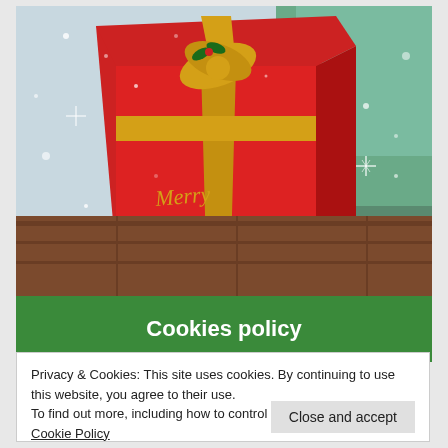[Figure (photo): A red Christmas gift box with a gold ribbon bow and holly decoration, with 'Merry Christmas' text on it, set on a wooden floor with snow falling and a teal/green background with sparkle effects.]
Cookies policy
Privacy & Cookies: This site uses cookies. By continuing to use this website, you agree to their use.
To find out more, including how to control cookies, see here: Cookie Policy